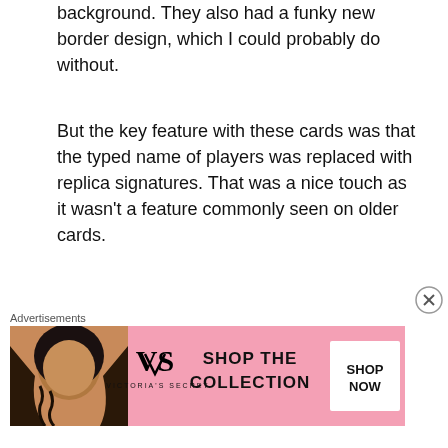background. They also had a funky new border design, which I could probably do without.
But the key feature with these cards was that the typed name of players was replaced with replica signatures. That was a nice touch as it wasn't a feature commonly seen on older cards.
Shown here is a card of Syl Apps from the set.
Variations, Rarity, Pricing
[Figure (photo): A hockey trading card featuring a player in dark jersey on an orange background with stars and decorative border elements, shown partially.]
Advertisements
[Figure (other): Victoria's Secret advertisement banner with a woman model, VS logo, text 'SHOP THE COLLECTION' and a 'SHOP NOW' button.]